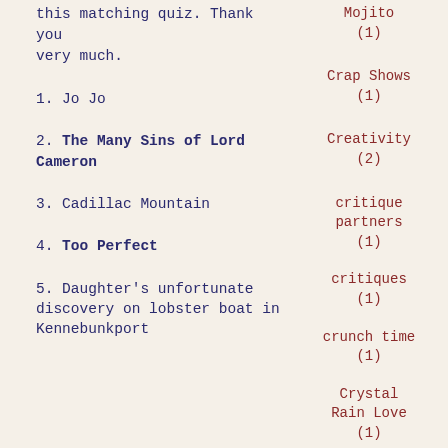this matching quiz. Thank you very much.
1. Jo Jo
2. The Many Sins of Lord Cameron
3. Cadillac Mountain
4. Too Perfect
5. Daughter's unfortunate discovery on lobster boat in Kennebunkport
Mojito (1)
Crap Shows (1)
Creativity (2)
critique partners (1)
critiques (1)
crunch time (1)
Crystal Rain Love (1)
Culinary Delights